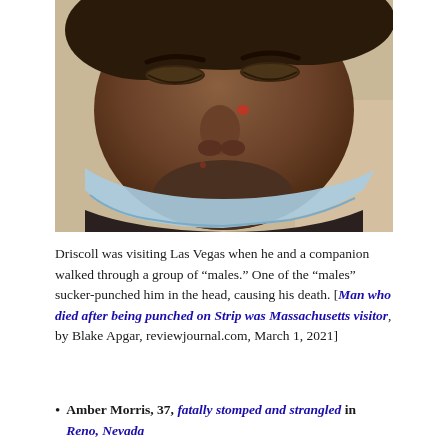[Figure (photo): Close-up photo of a man with eyes closed, appearing injured, with a blue surgical mask pulled down around his chin/neck, visible cuts and marks on his face]
Driscoll was visiting Las Vegas when he and a companion walked through a group of “males.” One of the “males” sucker-punched him in the head, causing his death. [Man who died after being punched on Strip was Massachusetts visitor, by Blake Apgar, reviewjournal.com, March 1, 2021]
Amber Morris, 37, fatally stomped and strangled in Reno, Nevada